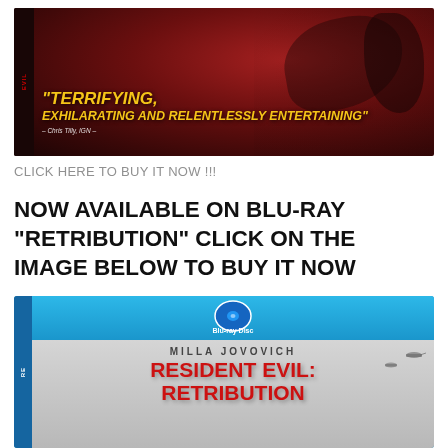[Figure (photo): Movie cover/banner image with dark red background showing a figure in action pose. Yellow bold italic text reads: "TERRIFYING, EXHILARATING AND RELENTLESSLY ENTERTAINING" with a small attribution below.]
CLICK HERE TO BUY IT NOW !!!
NOW AVAILABLE ON BLU-RAY “RETRIBUTION” CLICK ON THE IMAGE BELOW TO BUY IT NOW
[Figure (photo): Blu-ray disc case for Resident Evil: Retribution starring Milla Jovovich. Blue top bar with Blu-ray Disc logo. Silver/gray main area showing 'MILLA JOVOVICH' and 'RESIDENT EVIL: RETRIBUTION' in red lettering with helicopters in background.]